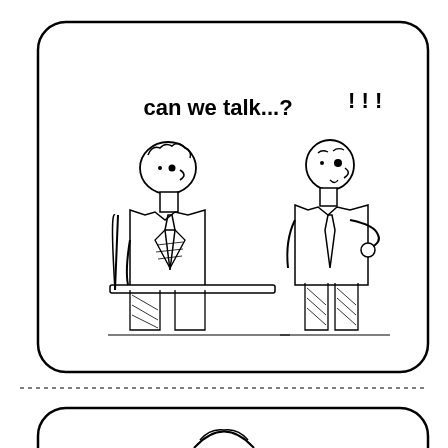[Figure (illustration): A cartoon/comic strip panel showing two men in an office setting. On the left, a man sits behind a desk looking up with a questioning expression, saying 'can we talk...?' in bold text. On the right, another man stands with his hand on his chin looking surprised, with three exclamation marks (!  !  !) above him indicating shock. The panel is enclosed in a rounded rectangle border. Below the panel is a dashed horizontal line. At the bottom, a second panel begins showing another rounded rectangle with partial content visible.]